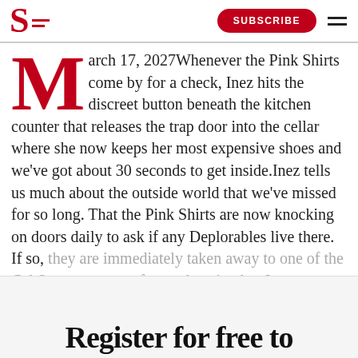S [logo] SUBSCRIBE [menu]
March 17, 2027Whenever the Pink Shirts come by for a check, Inez hits the discreet button beneath the kitchen counter that releases the trap door into the cellar where she now keeps her most expensive shoes and we've got about 30 seconds to get inside.Inez tells us much about the outside world that we've missed for so long. That the Pink Shirts are now knocking on doors daily to ask if any Deplorables live there. If so, they are immediately taken away to one of the Cal State campuses for reeducation but Inez says no...
Register for free to